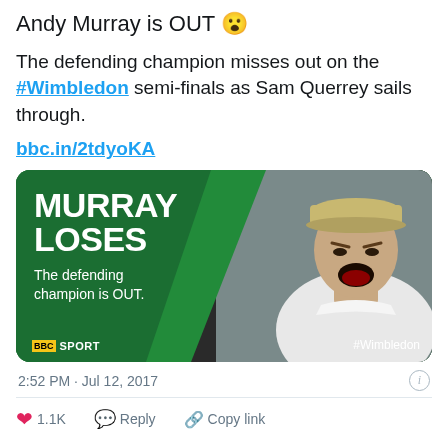Andy Murray is OUT 😮
The defending champion misses out on the #Wimbledon semi-finals as Sam Querrey sails through.
bbc.in/2tdyoKA
[Figure (photo): BBC Sport graphic showing 'MURRAY LOSES - The defending champion is OUT.' with BBC Sport logo and #Wimbledon hashtag, featuring a photo of Andy Murray shouting/reacting emotionally on a tennis court]
2:52 PM · Jul 12, 2017
❤ 1.1K   Reply   Copy link